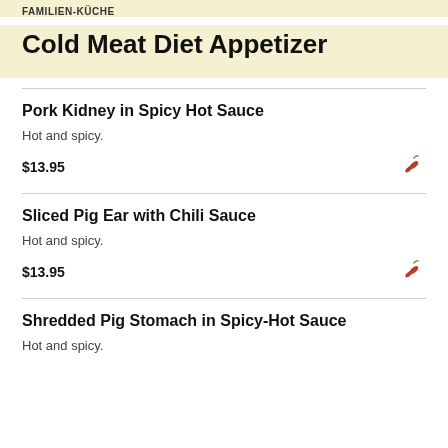FAMILIEN-KÜCHE
Cold Meat Diet Appetizer
Pork Kidney in Spicy Hot Sauce
Hot and spicy.
$13.95
Sliced Pig Ear with Chili Sauce
Hot and spicy.
$13.95
Shredded Pig Stomach in Spicy-Hot Sauce
Hot and spicy.